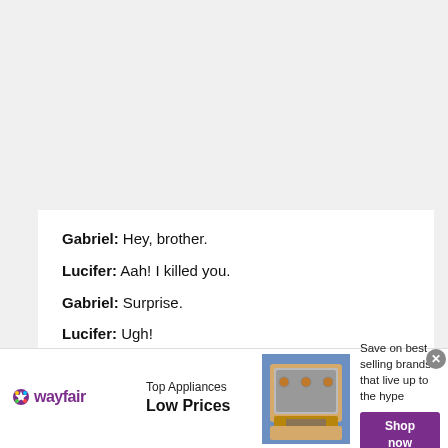Gabriel: Hey, brother.
Lucifer: Aah! I killed you.
Gabriel: Surprise.
Lucifer: Ugh!
[Figure (infographic): Wayfair advertisement banner showing logo, 'Top Appliances Low Prices' text, a kitchen range/stove image, and a 'Shop now' button with text 'Save on best selling brands that live up to the hype']